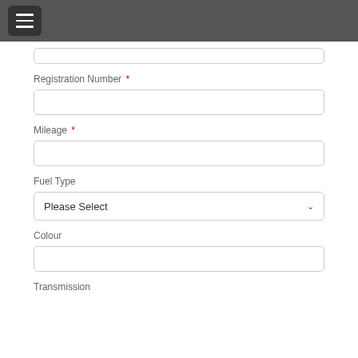Registration Number *
Mileage *
Fuel Type
Please Select
Colour
Transmission